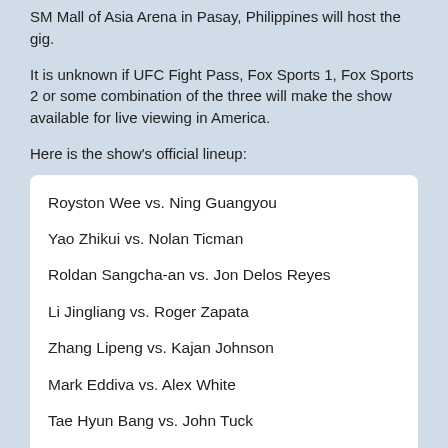SM Mall of Asia Arena in Pasay, Philippines will host the gig.
It is unknown if UFC Fight Pass, Fox Sports 1, Fox Sports 2 or some combination of the three will make the show available for live viewing in America.
Here is the show's official lineup:
Royston Wee vs. Ning Guangyou
Yao Zhikui vs. Nolan Ticman
Roldan Sangcha-an vs. Jon Delos Reyes
Li Jingliang vs. Roger Zapata
Zhang Lipeng vs. Kajan Johnson
Mark Eddiva vs. Alex White
Tae Hyun Bang vs. John Tuck
Phillipe Nover vs. Yui Chul Nam
Hyun Gyu Lim vs. Neil Magny